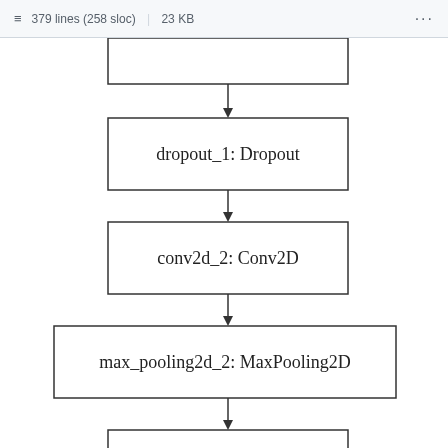379 lines (258 sloc) | 23 KB
[Figure (flowchart): Neural network layer flowchart showing: dropout_1: Dropout → conv2d_2: Conv2D → max_pooling2d_2: MaxPooling2D → dropout_2: Dropout, connected by arrows pointing downward. Top box is partially visible (cropped). Bottom box (dropout_2) is partially visible at bottom.]